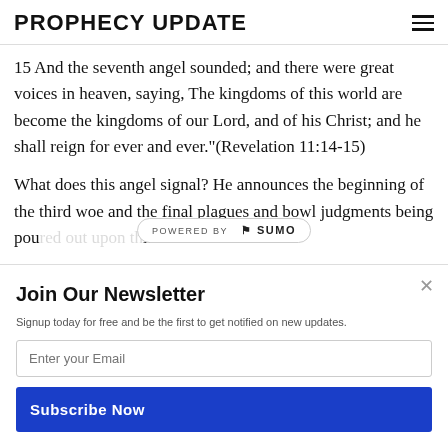PROPHECY UPDATE
15 And the seventh angel sounded; and there were great voices in heaven, saying, The kingdoms of this world are become the kingdoms of our Lord, and of his Christ; and he shall reign for ever and ever."(Revelation 11:14-15)
What does this angel signal? He announces the beginning of the third woe and the final plagues and bowl judgments being poured out upon this earth of rebellious
[Figure (other): Powered by Sumo badge/overlay]
Join Our Newsletter
Signup today for free and be the first to get notified on new updates.
Enter your Email
Subscribe Now